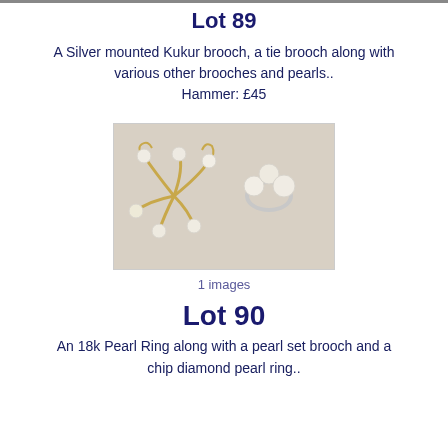Lot 89
A Silver mounted Kukur brooch, a tie brooch along with various other brooches and pearls..
Hammer: £45
[Figure (photo): Two pearl jewellery pieces: a gold brooch with pearls and a ring with pearls on white background]
1 images
Lot 90
An 18k Pearl Ring along with a pearl set brooch and a chip diamond pearl ring..